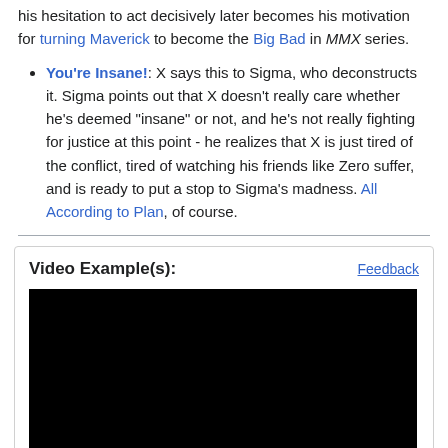his hesitation to act decisively later becomes his motivation for turning Maverick to become the Big Bad in MMX series.
You're Insane!: X says this to Sigma, who deconstructs it. Sigma points out that X doesn't really care whether he's deemed "insane" or not, and he's not really fighting for justice at this point - he realizes that X is just tired of the conflict, tired of watching his friends like Zero suffer, and is ready to put a stop to Sigma's madness. All According to Plan, of course.
Video Example(s):
[Figure (screenshot): Black video player thumbnail area]